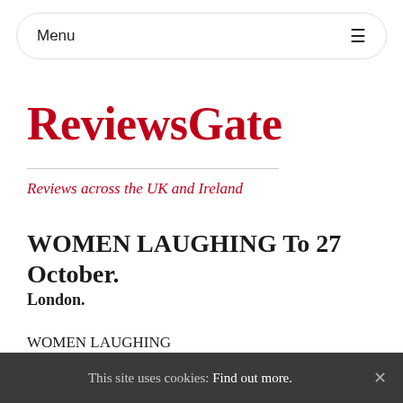Menu
ReviewsGate
Reviews across the UK and Ireland
WOMEN LAUGHING To 27 October.
London.
WOMEN LAUGHING
by Michael Wall
This site uses cookies: Find out more. ×